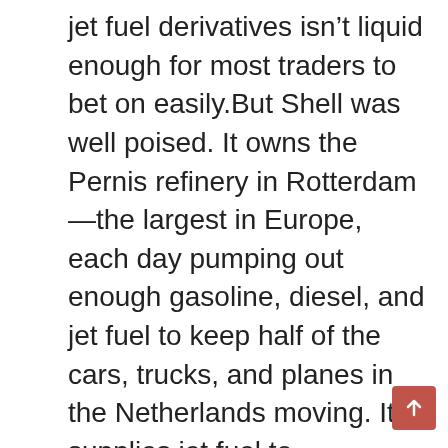jet fuel derivatives isn't liquid enough for most traders to bet on easily.But Shell was well poised. It owns the Pernis refinery in Rotterdam—the largest in Europe, each day pumping out enough gasoline, diesel, and jet fuel to keep half of the cars, trucks, and planes in the Netherlands moving. It supplies jet fuel to Amsterdam's Schiphol Airport.In early 2020, before air travel shrank, Shell's traders tweaked Pernis's production, cutting out jet fuel entirely while increasing output of other refined products. Shell still had contracts to supply jet fuel, however, so the company was left